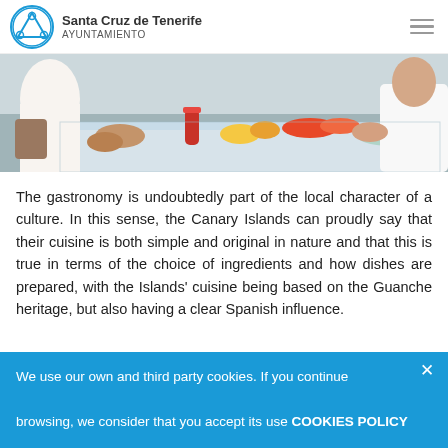Santa Cruz de Tenerife AYUNTAMIENTO
[Figure (photo): Two people sitting at a table outdoors covered with food — bread, fruits, drinks, dishes — a festive meal scene.]
The gastronomy is undoubtedly part of the local character of a culture. In this sense, the Canary Islands can proudly say that their cuisine is both simple and original in nature and that this is true in terms of the choice of ingredients and how dishes are prepared, with the Islands' cuisine being based on the Guanche heritage, but also having a clear Spanish influence.
We use our own and third party cookies. If you continue browsing, we consider that you accept its use COOKIES POLICY